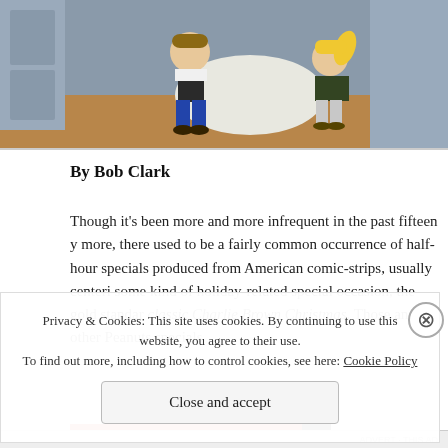[Figure (photo): Animated cartoon scene showing two characters, one in blue pants and vest and one with blonde hair in a ponytail and green shirt, sitting on a floor together with a large white fluffy object between them, in front of a door and paneled wall background.]
By Bob Clark
Though it's been more and more infrequent in the past fifteen y more, there used to be a fairly common occurrence of half-hour specials produced from American comic-strips, usually centeri some kind of holiday-related special occasion, the gold standar classic Charlie Brown Christmas. Those and other Peanuts specials
Privacy & Cookies: This site uses cookies. By continuing to use this website, you agree to their use.
To find out more, including how to control cookies, see here: Cookie Policy
Close and accept